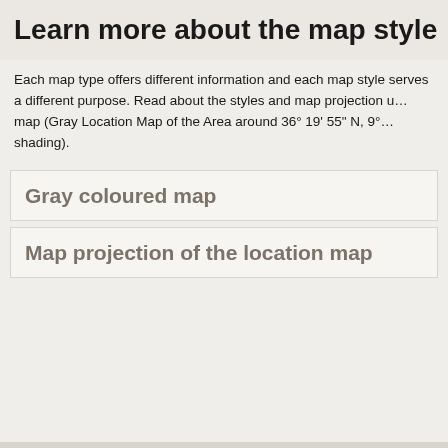Learn more about the map style
Each map type offers different information and each map style serves a different purpose. Read about the styles and map projection used for this map (Gray Location Map of the Area around 36° 19' 55" N, 9° ... shading).
Gray coloured map
Map projection of the location map